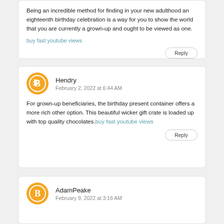Being an incredible method for finding in your new adulthood an eighteenth birthday celebration is a way for you to show the world that you are currently a grown-up and ought to be viewed as one.
buy fast youtube views
Reply
Hendry
February 2, 2022 at 6:44 AM
For grown-up beneficiaries, the birthday present container offers a more rich other option. This beautiful wicker gift crate is loaded up with top quality chocolates.buy fast youtube views
Reply
AdamPeake
February 9, 2022 at 3:16 AM